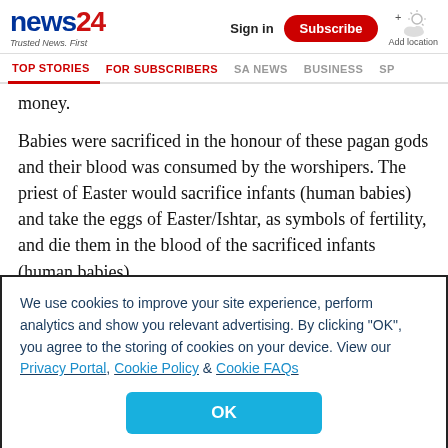news24 | Trusted News. First | Sign in | Subscribe | Add location
TOP STORIES | FOR SUBSCRIBERS | SA NEWS | BUSINESS | SP...
money.
Babies were sacrificed in the honour of these pagan gods and their blood was consumed by the worshipers. The priest of Easter would sacrifice infants (human babies) and take the eggs of Easter/Ishtar, as symbols of fertility, and die them in the blood of the sacrificed infants (human babies).
We use cookies to improve your site experience, perform analytics and show you relevant advertising. By clicking "OK", you agree to the storing of cookies on your device. View our Privacy Portal, Cookie Policy & Cookie FAQs
OK